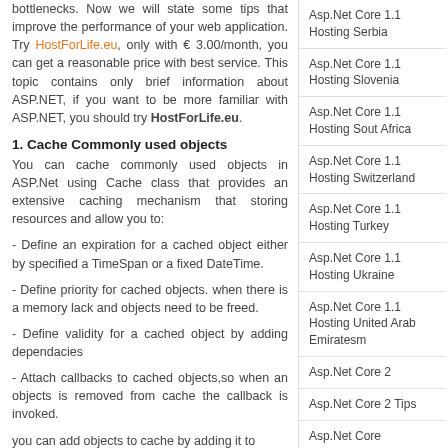bottlenecks. Now we will state some tips that improve the performance of your web application. Try HostForLife.eu, only with € 3.00/month, you can get a reasonable price with best service. This topic contains only brief information about ASP.NET, if you want to be more familiar with ASP.NET, you should try HostForLife.eu.
1. Cache Commonly used objects
You can cache commonly used objects in ASP.Net using Cache class that provides an extensive caching mechanism that storing resources and allow you to:
- Define an expiration for a cached object either by specified a TimeSpan or a fixed DateTime.
- Define priority for cached objects. when there is a memory lack and objects need to be freed.
- Define validity for a cached object by adding dependacies
- Attach callbacks to cached objects,so when an objects is removed from cache the callback is invoked.
you can add objects to cache by adding it to
Asp.Net Core 1.1 Hosting Serbia
Asp.Net Core 1.1 Hosting Slovenia
Asp.Net Core 1.1 Hosting Sout Africa
Asp.Net Core 1.1 Hosting Switzerland
Asp.Net Core 1.1 Hosting Turkey
Asp.Net Core 1.1 Hosting Ukraine
Asp.Net Core 1.1 Hosting United Arab Emiratesm
Asp.Net Core 2
Asp.Net Core 2 Tips
Asp.Net Core